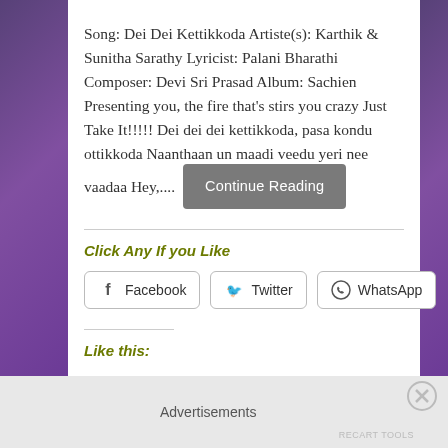Song: Dei Dei Kettikkoda Artiste(s): Karthik & Sunitha Sarathy Lyricist: Palani Bharathi Composer: Devi Sri Prasad Album: Sachien Presenting you, the fire that's stirs you crazy Just Take It!!!!! Dei dei dei kettikkoda, pasa kondu ottikkoda Naanthaan un maadi veedu yeri nee vaadaa Hey,....
Continue Reading
Click Any If you Like
Facebook
Twitter
WhatsApp
Like this:
Advertisements